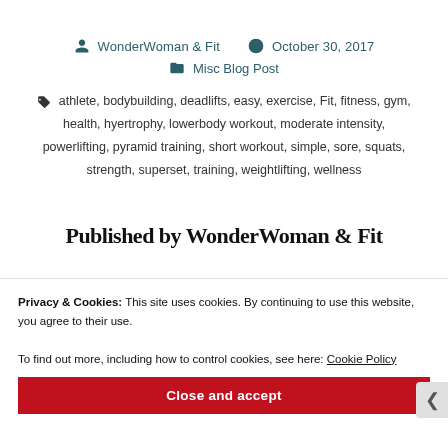WonderWoman & Fit   October 30, 2017
Misc Blog Post
athlete, bodybuilding, deadlifts, easy, exercise, Fit, fitness, gym, health, hyertrophy, lowerbody workout, moderate intensity, powerlifting, pyramid training, short workout, simple, sore, squats, strength, superset, training, weightlifting, wellness
Published by WonderWoman & Fit
Privacy & Cookies: This site uses cookies. By continuing to use this website, you agree to their use.
To find out more, including how to control cookies, see here: Cookie Policy
Close and accept